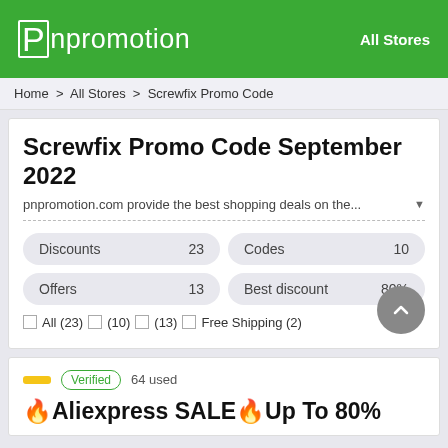Pnpromotion | All Stores
Home > All Stores > Screwfix Promo Code
Screwfix Promo Code September 2022
pnpromotion.com provide the best shopping deals on the...
| Label | Value |
| --- | --- |
| Discounts | 23 |
| Codes | 10 |
| Offers | 13 |
| Best discount | 80% |
All (23)  (10)  (13)  Free Shipping (2)
Verified  64 used
🔥Aliexpress SALE🔥Up To 80%